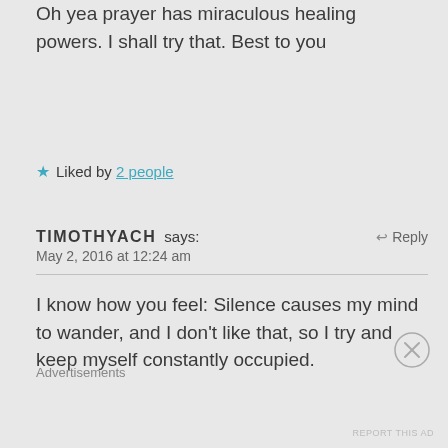Oh yea prayer has miraculous healing powers. I shall try that. Best to you
★ Liked by 2 people
TIMOTHYACH says: May 2, 2016 at 12:24 am ↩ Reply
I know how you feel: Silence causes my mind to wander, and I don't like that, so I try and keep myself constantly occupied.
Advertisements